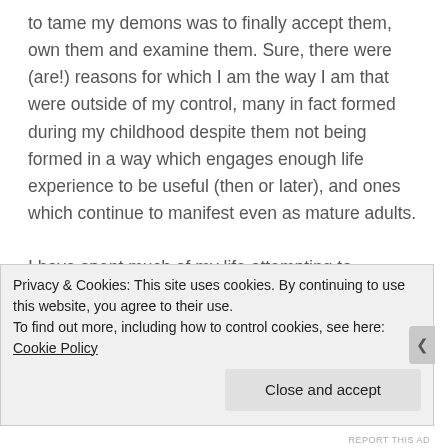to tame my demons was to finally accept them, own them and examine them. Sure, there were (are!) reasons for which I am the way I am that were outside of my control, many in fact formed during my childhood despite them not being formed in a way which engages enough life experience to be useful (then or later), and ones which continue to manifest even as mature adults.

I have spent much of my life attempting to deconstruct the reasons why I do things, to gain an understanding of what underlies my instinctive reactions and to gain enough emotional maturity to be able to lay new pathways, to rework those reactions in more beneficial ways. I could cite
Privacy & Cookies: This site uses cookies. By continuing to use this website, you agree to their use.
To find out more, including how to control cookies, see here: Cookie Policy
Close and accept